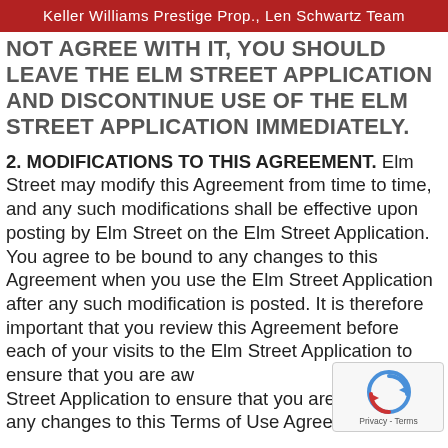Keller Williams Prestige Prop., Len Schwartz Team
NOT AGREE WITH IT, YOU SHOULD LEAVE THE ELM STREET APPLICATION AND DISCONTINUE USE OF THE ELM STREET APPLICATION IMMEDIATELY.
2. MODIFICATIONS TO THIS AGREEMENT. Elm Street may modify this Agreement from time to time, and any such modifications shall be effective upon posting by Elm Street on the Elm Street Application. You agree to be bound to any changes to this Agreement when you use the Elm Street Application after any such modification is posted. It is therefore important that you review this Agreement before each of your visits to the Elm Street Application to ensure that you are aware of any changes to this Terms of Use Agreement.